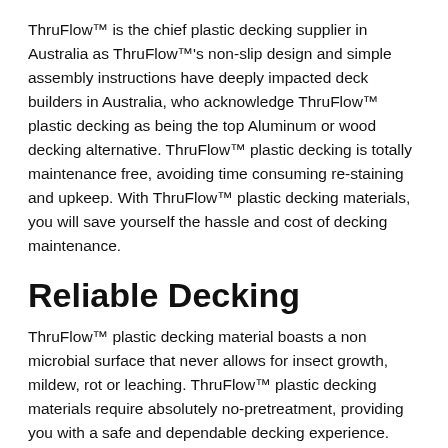ThruFlow™ is the chief plastic decking supplier in Australia as ThruFlow™'s non-slip design and simple assembly instructions have deeply impacted deck builders in Australia, who acknowledge ThruFlow™ plastic decking as being the top Aluminum or wood decking alternative. ThruFlow™ plastic decking is totally maintenance free, avoiding time consuming re-staining and upkeep. With ThruFlow™ plastic decking materials, you will save yourself the hassle and cost of decking maintenance.
Reliable Decking
ThruFlow™ plastic decking material boasts a non microbial surface that never allows for insect growth, mildew, rot or leaching. ThruFlow™ plastic decking materials require absolutely no-pretreatment, providing you with a safe and dependable decking experience.
Resilient Plastic Decking